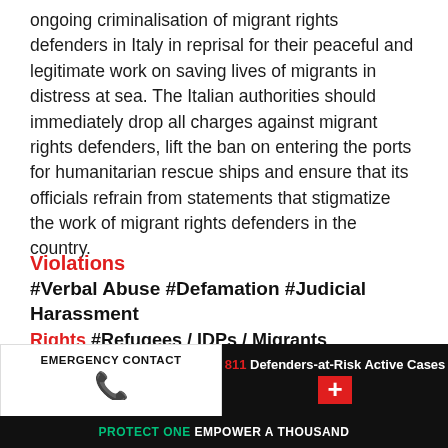ongoing criminalisation of migrant rights defenders in Italy in reprisal for their peaceful and legitimate work on saving lives of migrants in distress at sea. The Italian authorities should immediately drop all charges against migrant rights defenders, lift the ban on entering the ports for humanitarian rescue ships and ensure that its officials refrain from statements that stigmatize the work of migrant rights defenders in the country.
Violations
#Verbal Abuse #Defamation #Judicial Harassment
Rights #Refugees / IDPs / Migrants
Location #Italy
HRDs Carole Rackete
EMERGENCY CONTACT | 811 Defenders-at-Risk Active Cases | PROTECT ONE EMPOWER A THOUSAND